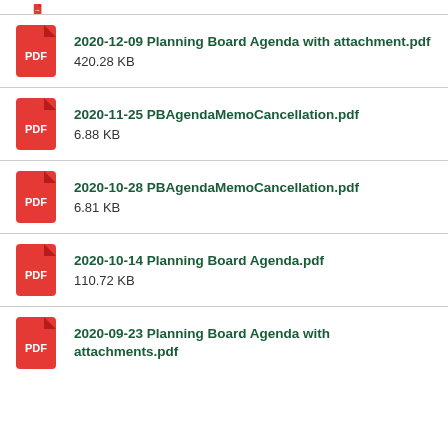2020-12-09 Planning Board Agenda with attachment.pdf
420.28 KB
2020-11-25 PBAgendaMemoCancellation.pdf
6.88 KB
2020-10-28 PBAgendaMemoCancellation.pdf
6.81 KB
2020-10-14 Planning Board Agenda.pdf
110.72 KB
2020-09-23 Planning Board Agenda with attachments.pdf